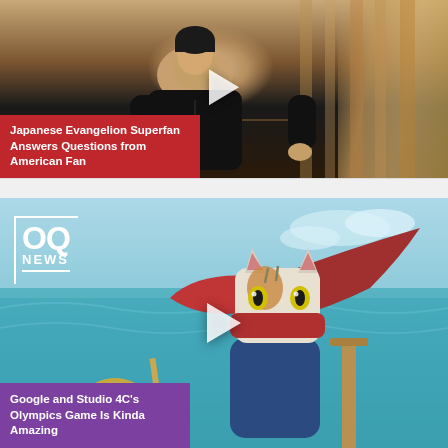[Figure (screenshot): Video thumbnail showing a person in a dark hoodie sitting in front of a wooden wall background with a play button overlay]
Japanese Evangelion Superfan Answers Questions from American Fan
[Figure (screenshot): Video thumbnail showing an anime cat character with a red scarf/cape, styled as a warrior on water, with OQ NEWS logo overlay and a play button]
Google and Studio 4C's Olympics Game Is Kinda Amazing